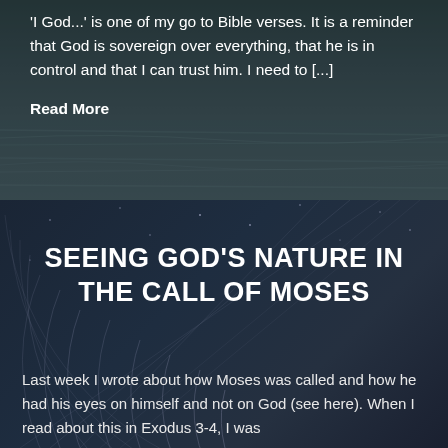'I God...' is one of my go to Bible verses. It is a reminder that God is sovereign over everything, that he is in control and that I can trust him. I need to [...]
Read More
[Figure (photo): Dark night sky with circular star trails forming spiral patterns, dark blue-gray tones]
SEEING GOD'S NATURE IN THE CALL OF MOSES
Last week I wrote about how Moses was called and how he had his eyes on himself and not on God (see here). When I read about this in Exodus 3-4, I was